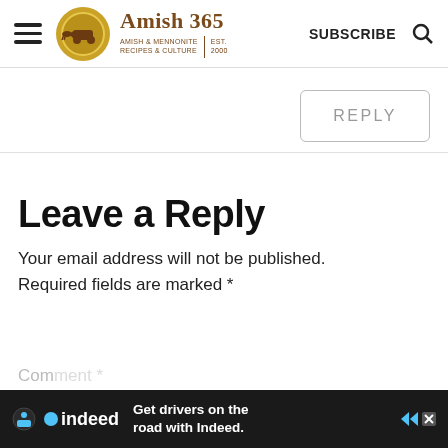Amish 365 — AMISH & MENNONITE RECIPES & CULTURE | EST. 2000 | SUBSCRIBE
REPLY
Leave a Reply
Your email address will not be published. Required fields are marked *
Com…
[Figure (screenshot): Indeed advertisement banner: 'Get drivers on the road with Indeed.']